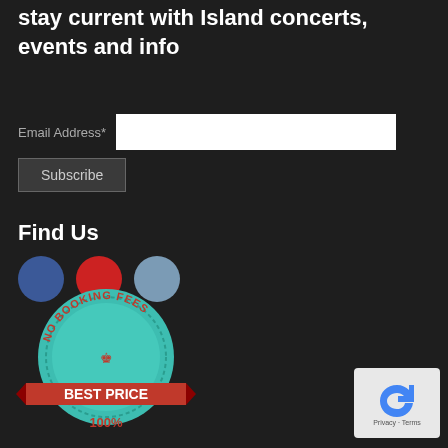stay current with Island concerts, events and info
Email Address*
Subscribe
Find Us
[Figure (illustration): Three social media icon circles: Facebook (blue), YouTube/red circle, and a light blue circle]
[Figure (illustration): Badge/seal graphic with teal ribbon circle reading NO BOOKING FEES, red banner reading BEST PRICE, and teal text reading 100%]
[Figure (illustration): Google reCAPTCHA widget box with spinning arrow icon and Privacy/Terms text]